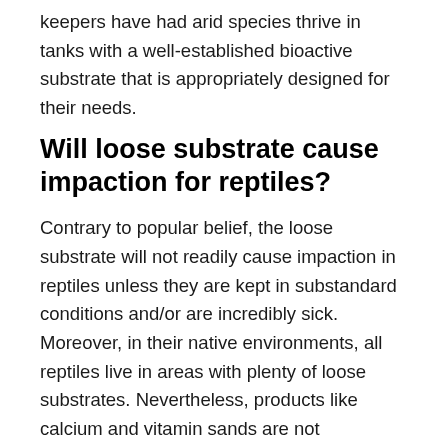keepers have had arid species thrive in tanks with a well-established bioactive substrate that is appropriately designed for their needs.
Will loose substrate cause impaction for reptiles?
Contrary to popular belief, the loose substrate will not readily cause impaction in reptiles unless they are kept in substandard conditions and/or are incredibly sick. Moreover, in their native environments, all reptiles live in areas with plenty of loose substrates. Nevertheless, products like calcium and vitamin sands are not recommended.
Summary of What is a